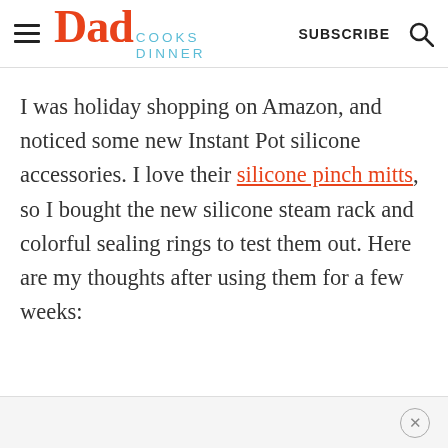Dad Cooks Dinner | SUBSCRIBE
I was holiday shopping on Amazon, and noticed some new Instant Pot silicone accessories. I love their silicone pinch mitts, so I bought the new silicone steam rack and colorful sealing rings to test them out. Here are my thoughts after using them for a few weeks: